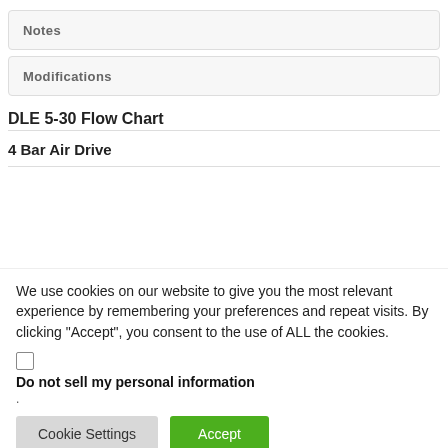Notes
Modifications
DLE 5-30 Flow Chart
4 Bar Air Drive
We use cookies on our website to give you the most relevant experience by remembering your preferences and repeat visits. By clicking “Accept”, you consent to the use of ALL the cookies.
Do not sell my personal information
.
Cookie Settings
Accept